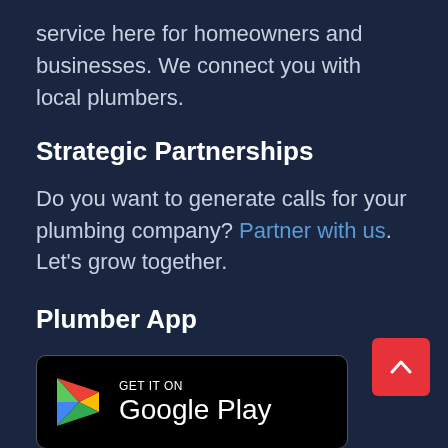service here for homeowners and businesses. We connect you with local plumbers.
Strategic Partnerships
Do you want to generate calls for your plumbing company? Partner with us. Let's grow together.
Plumber App
[Figure (logo): GET IT ON Google Play badge — black rounded rectangle with Google Play triangle logo and text]
[Figure (other): Red scroll-to-top button with upward chevron arrow]